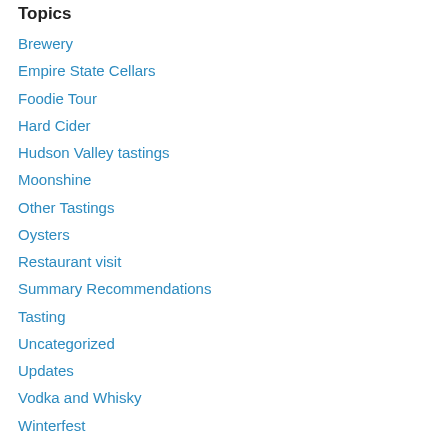Topics
Brewery
Empire State Cellars
Foodie Tour
Hard Cider
Hudson Valley tastings
Moonshine
Other Tastings
Oysters
Restaurant visit
Summary Recommendations
Tasting
Uncategorized
Updates
Vodka and Whisky
Winterfest
Archives